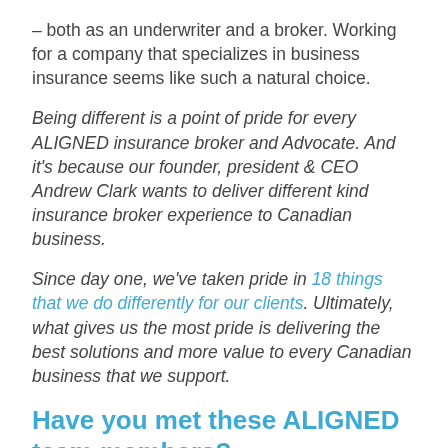– both as an underwriter and a broker. Working for a company that specializes in business insurance seems like such a natural choice.
Being different is a point of pride for every ALIGNED insurance broker and Advocate. And it's because our founder, president & CEO Andrew Clark wants to deliver different kind insurance broker experience to Canadian business.
Since day one, we've taken pride in 18 things that we do differently for our clients. Ultimately, what gives us the most pride is delivering the best solutions and more value to every Canadian business that we support.
Have you met these ALIGNED team members?